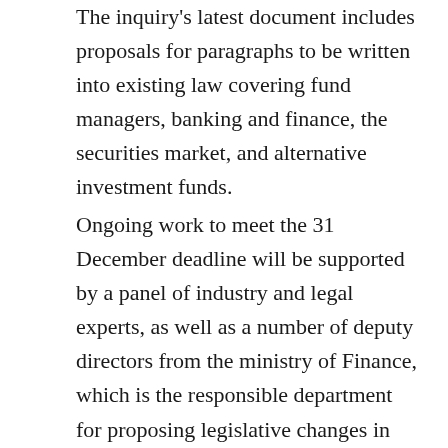The inquiry's latest document includes proposals for paragraphs to be written into existing law covering fund managers, banking and finance, the securities market, and alternative investment funds.
Ongoing work to meet the 31 December deadline will be supported by a panel of industry and legal experts, as well as a number of deputy directors from the ministry of Finance, which is the responsible department for proposing legislative changes in this area.  Helene Wall, general counsel at the Swedish Investment Fund Association, is part of the group, as well as Johan Florén from AP7.